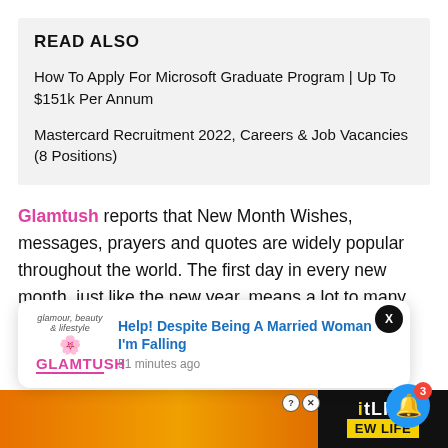READ ALSO
How To Apply For Microsoft Graduate Program | Up To $151k Per Annum
Mastercard Recruitment 2022, Careers & Job Vacancies (8 Positions)
Glamtush reports that New Month Wishes, messages, prayers and quotes are widely popular throughout the world. The first day in every new month, just like the new year, means a lot to many people who usually share messages, wishes, greetings and prayers to their relatives,
[Figure (screenshot): Ad banner at the bottom with orange/fire background and BitLife branding on the right side]
[Figure (screenshot): Push notification popup from Glamtush with title 'Help! Despite Being A Married Woman I'm Falling' and timestamp '51 minutes ago']